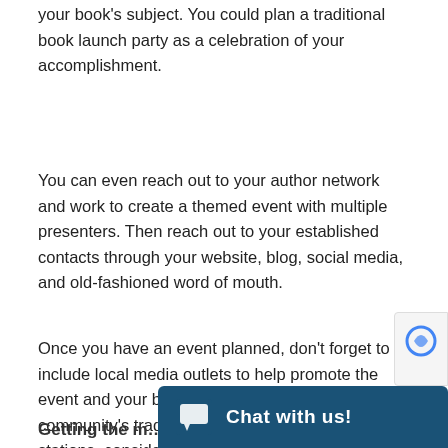your book's subject. You could plan a traditional book launch party as a celebration of your accomplishment.
You can even reach out to your author network and work to create a themed event with multiple presenters. Then reach out to your established contacts through your website, blog, social media, and old-fashioned word of mouth.
Once you have an event planned, don't forget to include local media outlets to help promote the event and your book. In addition to your community's traditional newspapers or TV stations, consider smaller special-interest lifestyle publications as well.
Getting the m…